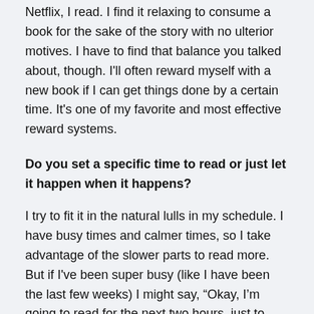Netflix, I read. I find it relaxing to consume a book for the sake of the story with no ulterior motives. I have to find that balance you talked about, though. I'll often reward myself with a new book if I can get things done by a certain time. It's one of my favorite and most effective reward systems.
Do you set a specific time to read or just let it happen when it happens?
I try to fit it in the natural lulls in my schedule. I have busy times and calmer times, so I take advantage of the slower parts to read more. But if I've been super busy (like I have been the last few weeks) I might say, “Okay, I’m going to read for the next two hours, just to give my brain a break from thinking so much.” How do you fit reading into your schedule?
I used to just try to let it happen where it happened, but I've